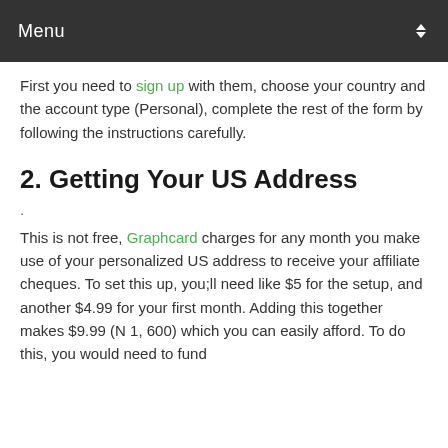Menu
First you need to sign up with them, choose your country and the account type (Personal), complete the rest of the form by following the instructions carefully.
2. Getting Your US Address
.
This is not free, Graphcard charges for any month you make use of your personalized US address to receive your affiliate cheques. To set this up, you;ll need like $5 for the setup, and another $4.99 for your first month. Adding this together makes $9.99 (N 1, 600) which you can easily afford. To do this, you would need to fund